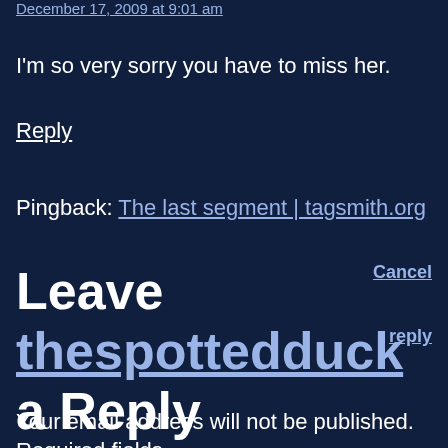December 17, 2009 at 9:01 am
I'm so very sorry you have to miss her.
Reply
Pingback: The last segment | tagsmith.org
Leave thespottedduck Cancel reply
a Reply
to
Your email address will not be published. Required fields